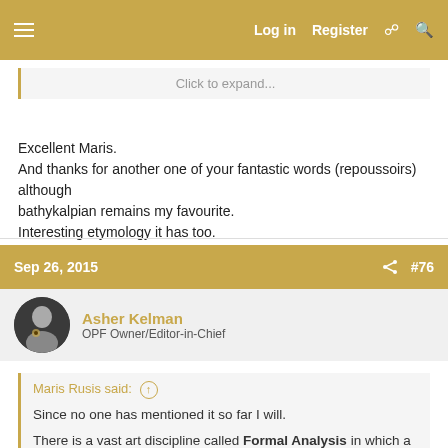Log in  Register
Click to expand...
Excellent Maris.
And thanks for another one of your fantastic words (repoussoirs) although bathykalpian remains my favourite.
Interesting etymology it has too.
Sep 26, 2015  #76
Asher Kelman
OPF Owner/Editor-in-Chief
Maris Rusis said:

Since no one has mentioned it so far I will.

There is a vast art discipline called Formal Analysis in which a picture is evaluated as a set of forms, tones, masses, lines, proportions, balances and imbalances. Identification of subject matter is irrelevant. People draw salary expounding the principles of formal analysis. Others pay money to be taught how to do it and what conclusions to draw. Maybe there really is